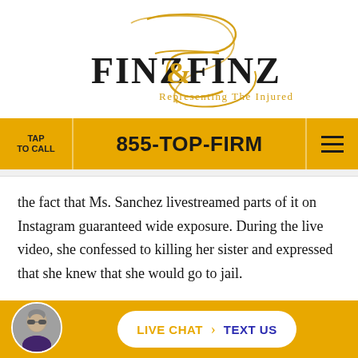[Figure (logo): Finz & Finz law firm logo with golden script monogram above the text 'FINZ & FINZ' and tagline 'Representing The Injured']
TAP TO CALL  855-TOP-FIRM  [menu]
the fact that Ms. Sanchez livestreamed parts of it on Instagram guaranteed wide exposure. During the live video, she confessed to killing her sister and expressed that she knew that she would go to jail.
Sadly, Ms. Sanchez is not alone in putting other teens at
LIVE CHAT  TEXT US